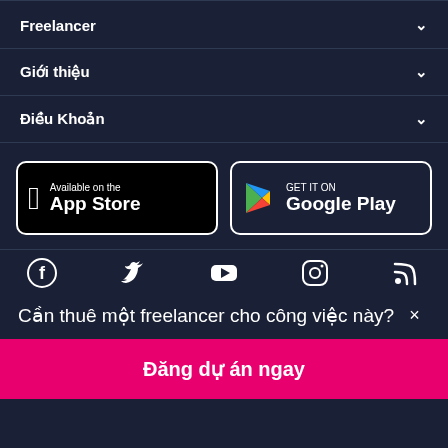Freelancer
Giới thiệu
Điều Khoản
[Figure (other): App Store and Google Play store download buttons]
[Figure (other): Social media icons: Facebook, Twitter, YouTube, Instagram, RSS]
Cần thuê một freelancer cho công việc này? ×
Đăng dự án ngay